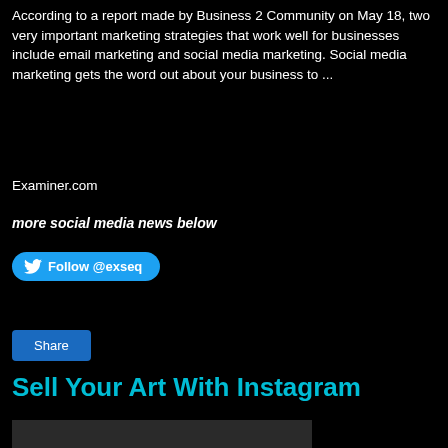According to a report made by Business 2 Community on May 18, two very important marketing strategies that work well for businesses include email marketing and social media marketing. Social media marketing gets the word out about your business to ...
Examiner.com
more social media news below
[Figure (other): Twitter Follow button with bird icon labeled Follow @exseq]
[Figure (other): Share button]
Sell Your Art With Instagram
[Figure (photo): Dark placeholder image area]